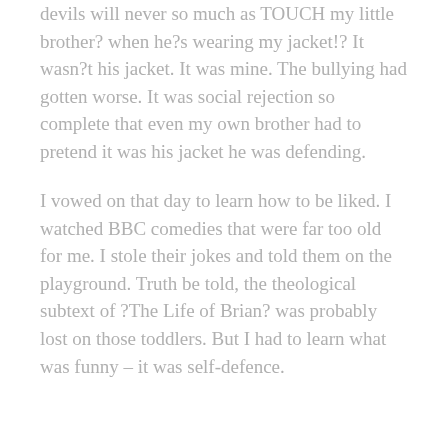devils will never so much as TOUCH my little brother? when he?s wearing my jacket!? It wasn?t his jacket. It was mine. The bullying had gotten worse. It was social rejection so complete that even my own brother had to pretend it was his jacket he was defending.
I vowed on that day to learn how to be liked. I watched BBC comedies that were far too old for me. I stole their jokes and told them on the playground. Truth be told, the theological subtext of ?The Life of Brian? was probably lost on those toddlers. But I had to learn what was funny – it was self-defence.